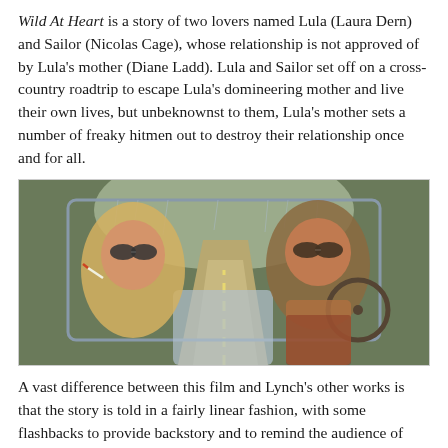Wild At Heart is a story of two lovers named Lula (Laura Dern) and Sailor (Nicolas Cage), whose relationship is not approved of by Lula's mother (Diane Ladd). Lula and Sailor set off on a cross-country roadtrip to escape Lula's domineering mother and live their own lives, but unbeknownst to them, Lula's mother sets a number of freaky hitmen out to destroy their relationship once and for all.
[Figure (photo): A still from the film Wild At Heart showing two people sitting in the front seat of a car on a road trip. A blonde woman on the left wearing sunglasses holds a cigarette, and a dark-haired man on the right wearing sunglasses drives. A highway stretches ahead through the windshield.]
A vast difference between this film and Lynch's other works is that the story is told in a fairly linear fashion, with some flashbacks to provide backstory and to remind the audience of why certain characters make certain choices. I do think Lynch works best when he's being authentically weird, but it was also quite refreshing to